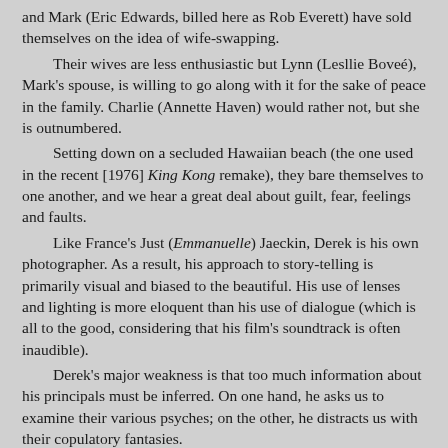and Mark (Eric Edwards, billed here as Rob Everett) have sold themselves on the idea of wife-swapping.
	Their wives are less enthusiastic but Lynn (Lesllie Boveé), Mark's spouse, is willing to go along with it for the sake of peace in the family. Charlie (Annette Haven) would rather not, but she is outnumbered.
	Setting down on a secluded Hawaiian beach (the one used in the recent [1976] King Kong remake), they bare themselves to one another, and we hear a great deal about guilt, fear, feelings and faults.
	Like France's Just (Emmanuelle) Jaeckin, Derek is his own photographer. As a result, his approach to story-telling is primarily visual and biased to the beautiful. His use of lenses and lighting is more eloquent than his use of dialogue (which is all to the good, considering that his film's soundtrack is often inaudible).
	Derek's major weakness is that too much information about his principals must be inferred. On one hand, he asks us to examine their various psyches; on the other, he distracts us with their copulatory fantasies.
	Surprisingly, the acting, especially from his women, is strong